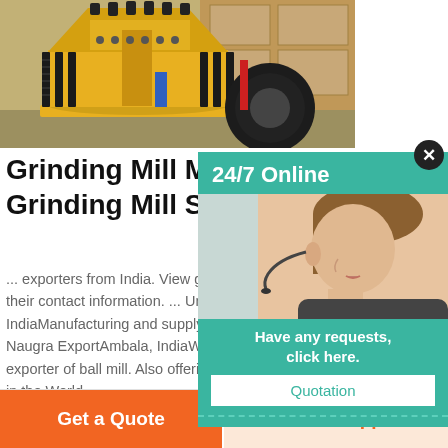[Figure (photo): Large yellow industrial grinding mill / cone crusher machine in a factory setting, with black springs and mechanical components visible.]
Grinding Mill Manufacturers i... Grinding Mill Suppliers, India...
... exporters from India. View grinding mill compar... their contact information. ... Uni- Tech SalesNew D... IndiaManufacturing and supplying grinding mill. Al... Naugra ExportAmbala, IndiaWe are a leading man... exporter of ball mill. Also offering ac .... Where in I... in the World.
[Figure (photo): Customer service representative / operator seen from the side, wearing a headset microphone, with teal background. Popup widget overlay with 24/7 Online text.]
Have any requests, click here.
Quotation
Get a Quote
WhatsApp